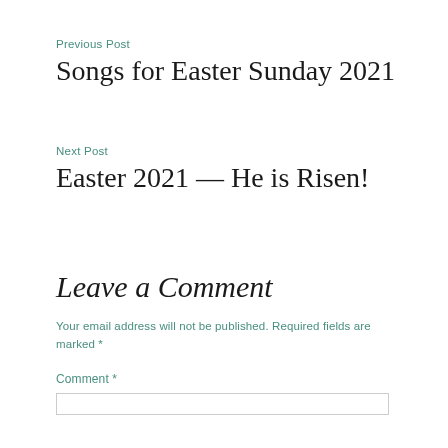Previous Post
Songs for Easter Sunday 2021
Next Post
Easter 2021 — He is Risen!
Leave a Comment
Your email address will not be published. Required fields are marked *
Comment *